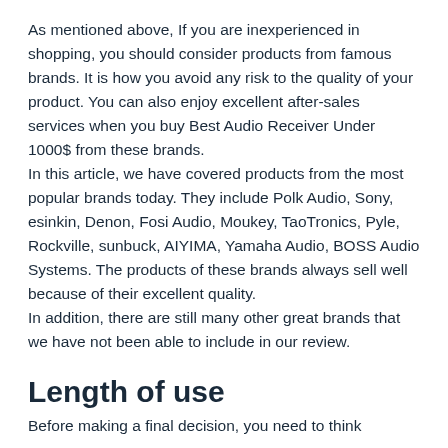As mentioned above, If you are inexperienced in shopping, you should consider products from famous brands. It is how you avoid any risk to the quality of your product. You can also enjoy excellent after-sales services when you buy Best Audio Receiver Under 1000$ from these brands. In this article, we have covered products from the most popular brands today. They include Polk Audio, Sony, esinkin, Denon, Fosi Audio, Moukey, TaoTronics, Pyle, Rockville, sunbuck, AIYIMA, Yamaha Audio, BOSS Audio Systems. The products of these brands always sell well because of their excellent quality. In addition, there are still many other great brands that we have not been able to include in our review.
Length of use
Before making a final decision, you need to think